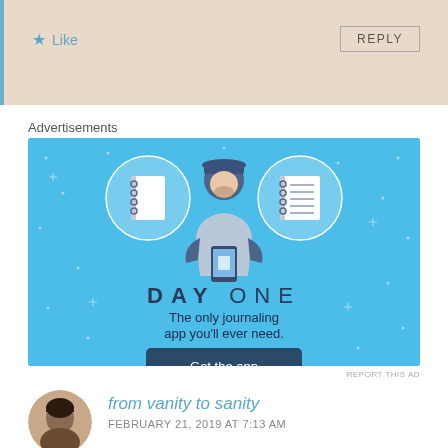★ Like
REPLY
Advertisements
[Figure (illustration): Day One journaling app advertisement on a blue background. Shows a cartoon person holding a phone with two circular icons on either side (notebook and lined paper). Text reads 'DAY ONE — The only journaling app you'll ever need.' with a 'Get the app' button.]
REPORT THIS AD
from vanity to sanity
FEBRUARY 21, 2019 AT 7:13 AM